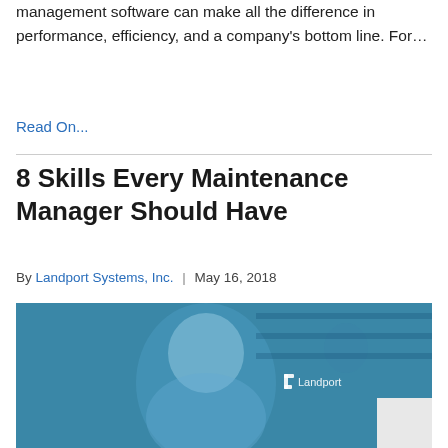management software can make all the difference in performance, efficiency, and a company's bottom line. For…
Read On...
8 Skills Every Maintenance Manager Should Have
By Landport Systems, Inc.  |  May 16, 2018
[Figure (photo): A smiling maintenance manager in a blue-tinted workplace environment with Landport watermark logo.]